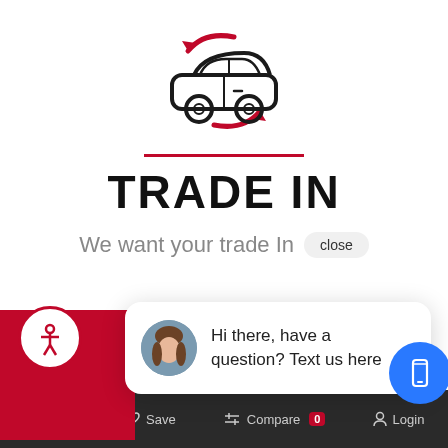[Figure (illustration): Car trade-in icon: outline of a sedan car with two circular red arrows (one top-left, one bottom-right) indicating a trade/swap, with a red horizontal divider line below]
TRADE IN
We want your trade In
close
[Figure (screenshot): Chat bubble popup with avatar photo of a woman, text: Hi there, have a question? Text us here, with a blue phone/mobile button on the right]
[Figure (illustration): Accessibility icon button (person in circle) outlined in red on white circle, bottom left]
Alerts  Save  Compare 0  Login